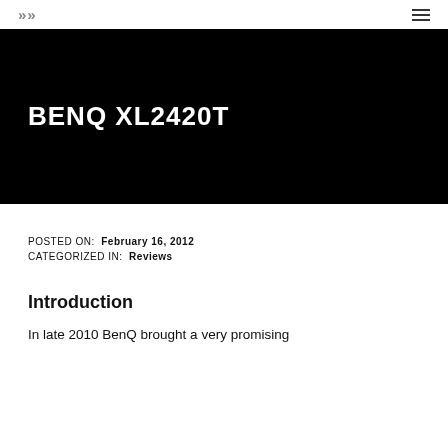>> ≡
[Figure (other): Black hero banner with white bold text reading BENQ XL2420T]
BENQ XL2420T
POSTED ON: February 16, 2012
CATEGORIZED IN: Reviews
Introduction
In late 2010 BenQ brought a very promising